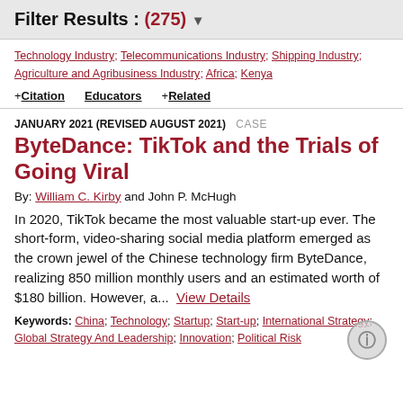Filter Results : (275)
Technology Industry; Telecommunications Industry; Shipping Industry; Agriculture and Agribusiness Industry; Africa; Kenya
+ Citation   Educators   + Related
JANUARY 2021 (REVISED AUGUST 2021)   CASE
ByteDance: TikTok and the Trials of Going Viral
By: William C. Kirby and John P. McHugh
In 2020, TikTok became the most valuable start-up ever. The short-form, video-sharing social media platform emerged as the crown jewel of the Chinese technology firm ByteDance, realizing 850 million monthly users and an estimated worth of $180 billion. However, a...  View Details
Keywords: China; Technology; Startup; Start-up; International Strategy; Global Strategy And Leadership; Innovation; Political Risk